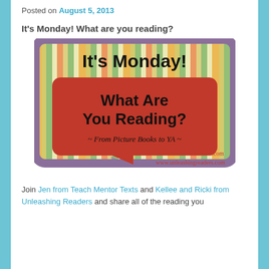Posted on August 5, 2013
It's Monday! What are you reading?
[Figure (illustration): Promotional image for 'It's Monday! What Are You Reading? From Picture Books to YA' with websites www.teachmentortexts.com and www.unleashingreaders.com. Features a speech bubble design with colorful striped background.]
Join Jen from Teach Mentor Texts and Kellee and Ricki from Unleashing Readers and share all of the reading you